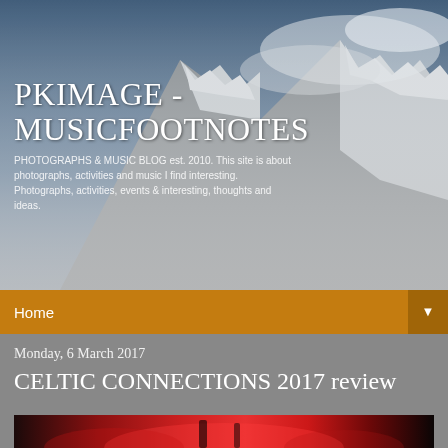[Figure (photo): Mountain with snow and stormy dark blue sky background, header image for music blog]
PKIMAGE - MUSICFOOTNOTES
PHOTOGRAPHS & MUSIC BLOG est. 2010. This site is about photographs, activities and music I find interesting. Photographs, activities, events & interesting, thoughts and ideas.
Home
Monday, 6 March 2017
CELTIC CONNECTIONS 2017 review
[Figure (photo): Concert photo with red/pink stage lighting, bottom portion visible]